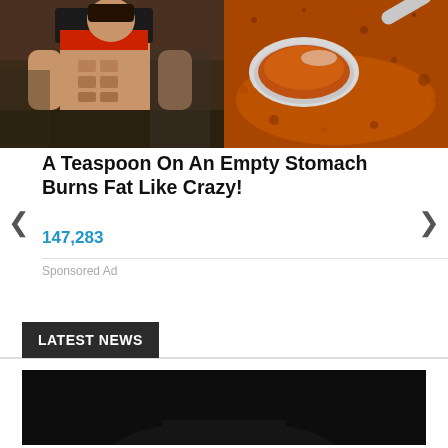[Figure (photo): Split image: left side shows a muscular person lifting their shirt to show abs; right side shows a metal spoon with orange-red spice powder]
A Teaspoon On An Empty Stomach Burns Fat Like Crazy!
147,283
Sponsored Ad
LATEST NEWS
[Figure (photo): Dark/black image thumbnail, mostly black with slight figure visible at bottom]